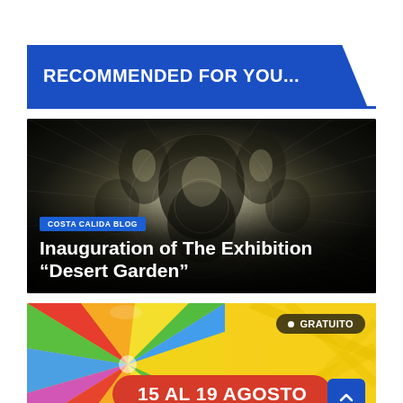RECOMMENDED FOR YOU...
[Figure (photo): Black and white kaleidoscopic/mandala patterned photograph used as card background with 'COSTA CALIDA BLOG' tag and title 'Inauguration of The Exhibition "Desert Garden"']
COSTA CALIDA BLOG
Inauguration of The Exhibition “Desert Garden”
[Figure (photo): Colorful parachute game photo with yellow striped background, GRATUITO badge, and '15 AL 19 AGOSTO' pill label]